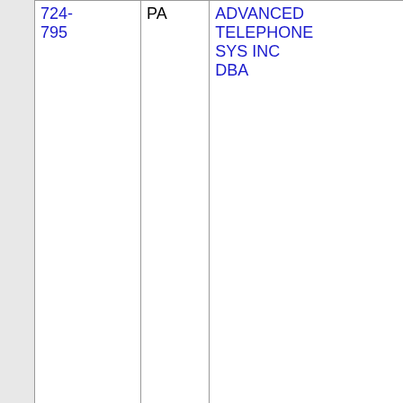| Number | State | Name | ZIP | City |
| --- | --- | --- | --- | --- |
| 724-795 | PA | ADVANCED TELEPHONE SYS INC DBA | 2522 | BUFFALO... |
| Thousands block for 724-795 |  |  |  |  |
| 724-795-6 | PA | ADVANCED TELEPHONE SYS INC DBA | 2522 | BUFFALO... |